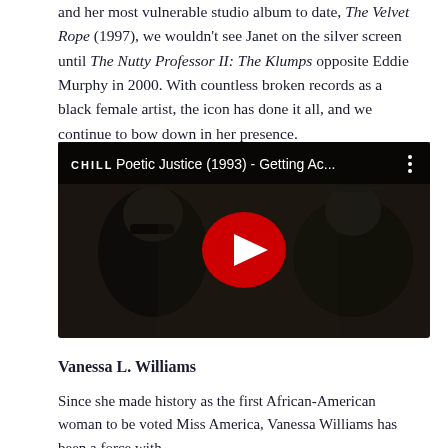and her most vulnerable studio album to date, The Velvet Rope (1997), we wouldn't see Janet on the silver screen until The Nutty Professor II: The Klumps opposite Eddie Murphy in 2000. With countless broken records as a black female artist, the icon has done it all, and we continue to bow down in her presence.
[Figure (screenshot): YouTube video embed showing a dark scene with two people. Title bar reads 'CHILL  Poetic Justice (1993) - Getting Ac...' with a red play button in the center.]
Vanessa L. Williams
Since she made history as the first African-American woman to be voted Miss America, Vanessa Williams has been a force with